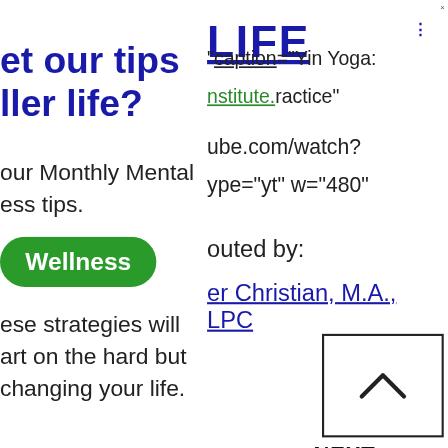LIFE
caption="Yin Yoga: institute Practice"
ube.com/watch? ype="yt" w="480"
et our tips ller life?
our Monthly Mental ess tips.
[Figure (other): Green pill-shaped button labeled 'Wellness']
ese strategies will art on the hard but changing your life.
outed by:
er Christian, M.A., LPC
[Figure (other): Square navigation box with upward chevron arrow]
NEXT →